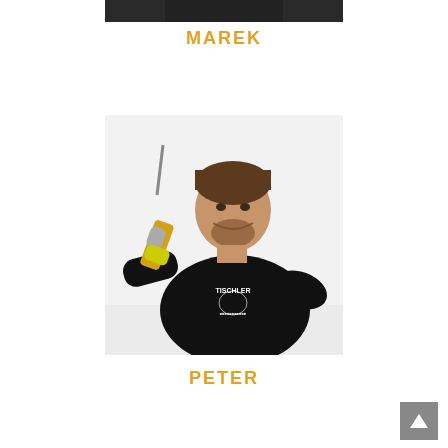[Figure (photo): Partial photo of a person in dark clothing, cropped at top of page (Marek)]
MAREK
[Figure (photo): Photo of a man named Peter holding a yellow power drill, wearing a black sweatshirt with 'TISCHLER' graphic, smiling, white background]
PETER